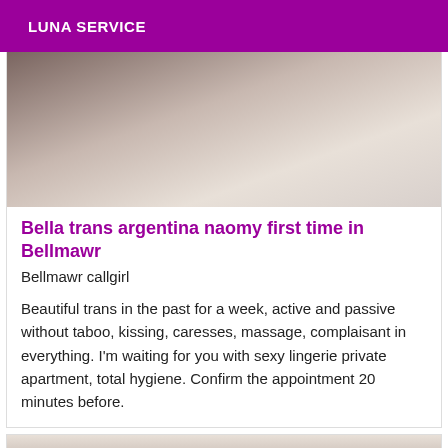LUNA SERVICE
[Figure (photo): Photo of a person lying on white bedding, partial view]
Bella trans argentina naomy first time in Bellmawr
Bellmawr callgirl
Beautiful trans in the past for a week, active and passive without taboo, kissing, caresses, massage, complaisant in everything. I'm waiting for you with sexy lingerie private apartment, total hygiene. Confirm the appointment 20 minutes before.
[Figure (photo): Partial photo of another listing, dark tones, person partially visible]